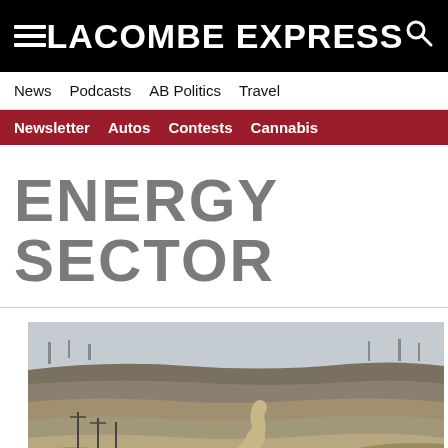LACOMBE EXPRESS
News  Podcasts  AB Politics  Travel
Newsletter  Autos  Contests  Cannabis
ENERGY SECTOR
[Figure (photo): Open-pit mine with winding dirt road, terraced rock faces, and overcast sky]